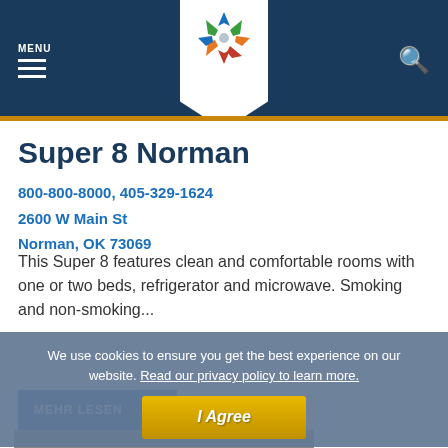MENU — Navigation header with logo and search
Super 8 Norman
800-800-8000, 405-329-1624
2600 W Main St
Norman, OK 73069
This Super 8 features clean and comfortable rooms with one or two beds, refrigerator and microwave. Smoking and non-smoking...
MEHR LESEN >
We use cookies to ensure you get the best experience on our website. Read our privacy policy to learn more.
I Agree
[Figure (photo): Bottom portion of a hotel photo partially visible]